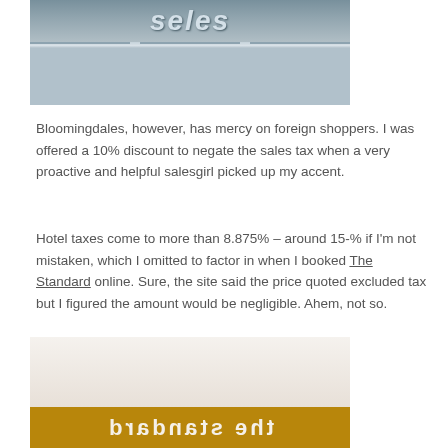[Figure (photo): Photo of a store exterior (Bloomingdales) showing a glass facade with signage]
Bloomingdales, however, has mercy on foreign shoppers. I was offered a 10% discount to negate the sales tax when a very proactive and helpful salesgirl picked up my accent.
Hotel taxes come to more than 8.875% – around 15-% if I'm not mistaken, which I omitted to factor in when I booked The Standard online. Sure, the site said the price quoted excluded tax but I figured the amount would be negligible. Ahem, not so.
[Figure (photo): Photo of The Standard hotel signage, text mirrored/reversed on what appears to be a bag or card]